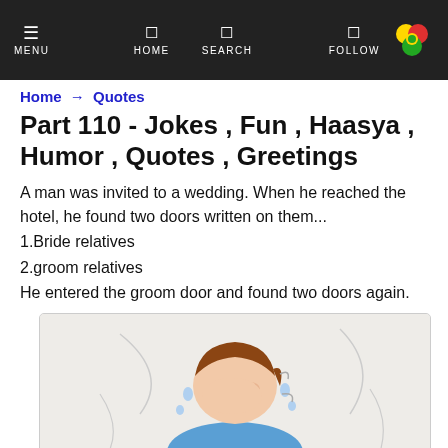MENU  HOME  SEARCH  FOLLOW
Home → Quotes
Part 110 - Jokes , Fun , Haasya , Humor , Quotes , Greetings
A man was invited to a wedding. When he reached the hotel, he found two doors written on them...
1.Bride relatives
2.groom relatives
He entered the groom door and found two doors again.
[Figure (illustration): Cartoon illustration of a man crying or rubbing his eyes with his hand, wearing a blue shirt, with droplets around his face indicating tears or sweat.]